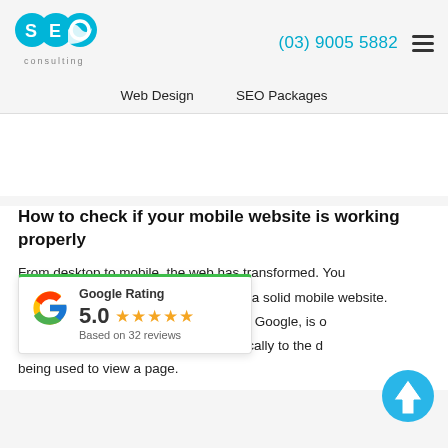[Figure (logo): SEO Consulting logo — blue stylized 'SEO' letters with a mountain/wave icon, text 'consulting' below]
(03) 9005 5882
Web Design   SEO Packages
How to check if your mobile website is working properly
From desktop to mobile, the web has transformed. You
[Figure (infographic): Google Rating badge: Google 'G' logo, text 'Google Rating', score '5.0', five orange stars, 'Based on 32 reviews']
a solid mobile website.
ed by Google, is o
namically to the d
being used to view a page.